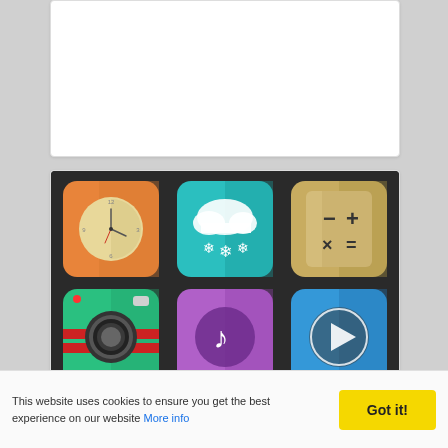[Figure (illustration): Six flat paper-folding style app icons on dark background: clock (orange), weather/snow (teal), calculator (gold), camera (green), music (purple), video play (blue)]
Paper Like Folding Icons PSD
This website uses cookies to ensure you get the best experience on our website More info
Got it!